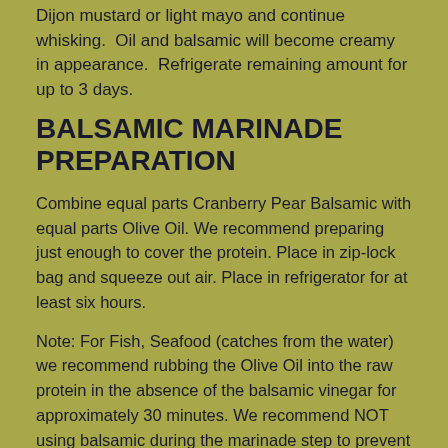Dijon mustard or light mayo and continue whisking. Oil and balsamic will become creamy in appearance. Refrigerate remaining amount for up to 3 days.
BALSAMIC MARINADE PREPARATION
Combine equal parts Cranberry Pear Balsamic with equal parts Olive Oil. We recommend preparing just enough to cover the protein. Place in zip-lock bag and squeeze out air. Place in refrigerator for at least six hours.
Note: For Fish, Seafood (catches from the water) we recommend rubbing the Olive Oil into the raw protein in the absence of the balsamic vinegar for approximately 30 minutes. We recommend NOT using balsamic during the marinade step to prevent the acidic balsamic from breaking down the delicate protein. Instead, combine Olive Oil and Cranberry Pear Balsamic and use to drizzle over the finished product.
BALSAMIC REDUCTION